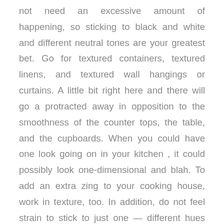not need an excessive amount of happening, so sticking to black and white and different neutral tones are your greatest bet. Go for textured containers, textured linens, and textured wall hangings or curtains. A little bit right here and there will go a protracted away in opposition to the smoothness of the counter tops, the table, and the cupboards. When you could have one look going on in your kitchen , it could possibly look one-dimensional and blah. To add an extra zing to your cooking house, work in texture, too. In addition, do not feel strain to stick to just one — different hues of the same shade work